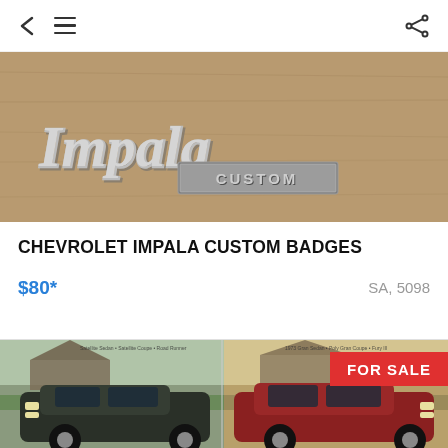< ≡  (share icon)
[Figure (photo): Chrome Impala Custom car badge/emblem on a wooden surface, showing cursive 'Impala' script with 'CUSTOM' rectangular badge below]
CHEVROLET IMPALA CUSTOM BADGES
$80*
SA, 5098
[Figure (photo): Two classic muscle cars shown side by side in an old car brochure or advertisement. A dark green/black car on the left and a red car on the right, photographed in residential settings. A red 'FOR SALE' badge appears in the top right corner.]